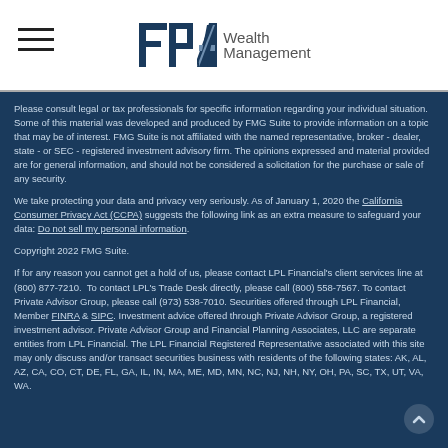FPA Wealth Management
Please consult legal or tax professionals for specific information regarding your individual situation. Some of this material was developed and produced by FMG Suite to provide information on a topic that may be of interest. FMG Suite is not affiliated with the named representative, broker - dealer, state - or SEC - registered investment advisory firm. The opinions expressed and material provided are for general information, and should not be considered a solicitation for the purchase or sale of any security.
We take protecting your data and privacy very seriously. As of January 1, 2020 the California Consumer Privacy Act (CCPA) suggests the following link as an extra measure to safeguard your data: Do not sell my personal information.
Copyright 2022 FMG Suite.
If for any reason you cannot get a hold of us, please contact LPL Financial's client services line at (800) 877-7210. To contact LPL's Trade Desk directly, please call (800) 558-7567. To contact Private Advisor Group, please call (973) 538-7010. Securities offered through LPL Financial, Member FINRA & SIPC. Investment advice offered through Private Advisor Group, a registered investment advisor. Private Advisor Group and Financial Planning Associates, LLC are separate entities from LPL Financial. The LPL Financial Registered Representative associated with this site may only discuss and/or transact securities business with residents of the following states: AK, AL, AZ, CA, CO, CT, DE, FL, GA, IL, IN, MA, ME, MD, MN, NC, NJ, NH, NY, OH, PA, SC, TX, UT, VA, WA.